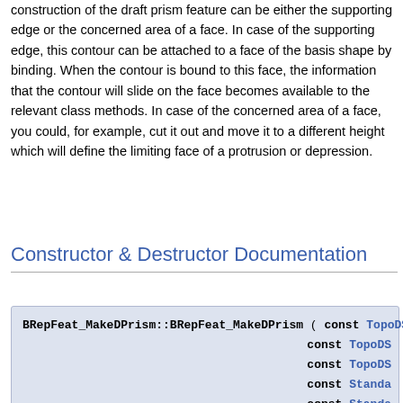construction of the draft prism feature can be either the supporting edge or the concerned area of a face. In case of the supporting edge, this contour can be attached to a face of the basis shape by binding. When the contour is bound to this face, the information that the contour will slide on the face becomes available to the relevant class methods. In case of the concerned area of a face, you could, for example, cut it out and move it to a different height which will define the limiting face of a protrusion or depression.
Constructor & Destructor Documentation
BRepFeat_MakeDPrism::BRepFeat_MakeDPrism ( const TopoDS_ const TopoDS_ const TopoDS_ const Standa const Standa const Standa